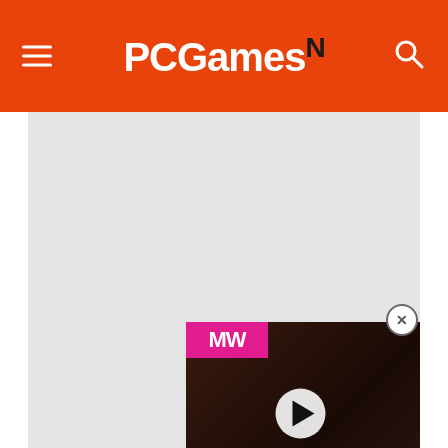PCGamesN
[Figure (screenshot): Large light grey image placeholder area occupying most of the upper page]
[Figure (screenshot): Video overlay thumbnail for 'Best Zombie Games' with MW logo badge, play button, and character from The Last of Us. Close button (X) in top right corner.]
No fan of snow? Trade it for the best sandbox games on PC
The games Moore chooses to play in Antarctica tend to follow a pattern. When the moon starts fitting with his